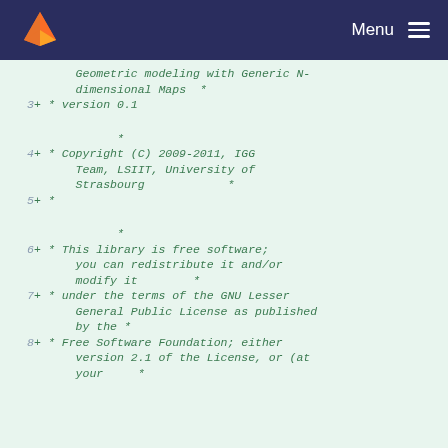GitLab Menu
Code diff view showing lines 3-8 of a C++ source file with license header. Lines show additions (+) to a file containing: Geometric modeling with Generic N-dimensional Maps, version 0.1, Copyright (C) 2009-2011 IGG Team LSIIT University of Strasbourg, free software under GNU Lesser General Public License version 2.1.